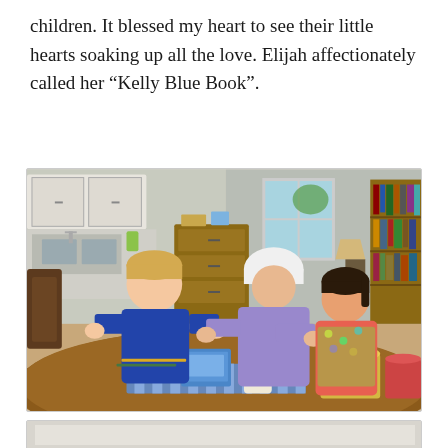children. It blessed my heart to see their little hearts soaking up all the love. Elijah affectionately called her “Kelly Blue Book”.
[Figure (photo): A woman with a white head covering assists two children at a round wooden kitchen table. They appear to be doing a craft activity. The kitchen is visible in the background with cabinets and a dresser. Bookshelves are visible on the right side of the room. Various items are on the table including a candle jar, bread, and craft materials.]
[Figure (photo): Partial view of another photo, showing a light-colored background, possibly the beginning of another scene.]